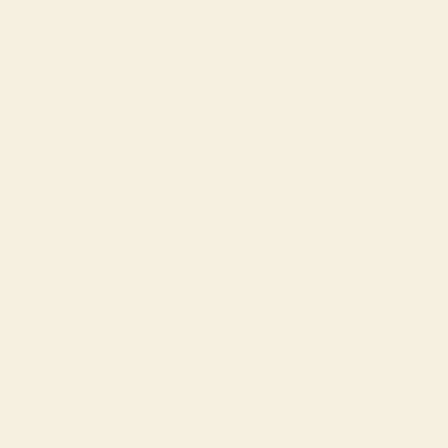[Figure (map): Satellite aerial map of Antwerp, Belgium showing city districts including Borgerhout, Deurne, Berchem, and Veldekens. Roads labeled N49a, N1, N12, N113, N184, N148, E313, E19, E34. Shows Museum aan de Stroom, Bosuilstadion. Map data ©2022 Imagery ©2022 TerraMetrics. Google logo visible. Zoom controls (+/-) on right side. Mini map thumbnail in lower left.]
<iframe width="336" height="280" frameborder="0" scrolling="no" marginheight="0" marginwidth="0"